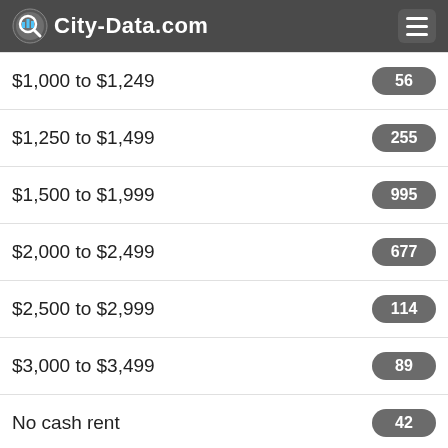City-Data.com
$1,000 to $1,249
$1,250 to $1,499
$1,500 to $1,999
$2,000 to $2,499
$2,500 to $2,999
$3,000 to $3,499
No cash rent
Median gross rent in 2019: $2,121.
Median price asked for vacant for-sale houses and condos in